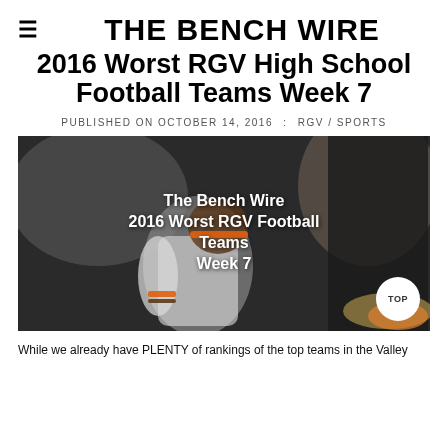THE BENCH WIRE
2016 Worst RGV High School Football Teams Week 7
PUBLISHED ON OCTOBER 14, 2016 : RGV / SPORTS
[Figure (photo): Football player in brown and orange uniform appearing to celebrate or react, with text overlay reading 'The Bench Wire 2016 Worst RGV Football Teams Week 7']
While we already have PLENTY of rankings of the top teams in the Valley